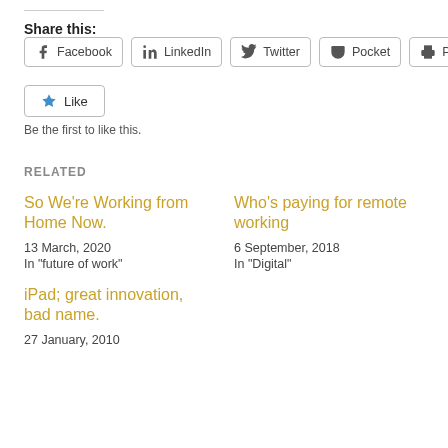Share this:
Facebook  LinkedIn  Twitter  Pocket  Print
Like
Be the first to like this.
RELATED
So We're Working from Home Now.
13 March, 2020
In "future of work"
Who's paying for remote working
6 September, 2018
In "Digital"
iPad; great innovation, bad name.
27 January, 2010